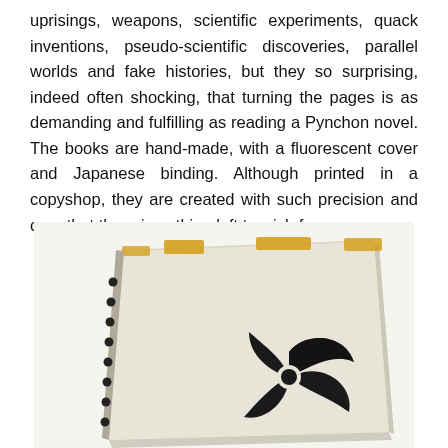uprisings, weapons, scientific experiments, quack inventions, pseudo-scientific discoveries, parallel worlds and fake histories, but they so surprising, indeed often shocking, that turning the pages is as demanding and fulfilling as reading a Pynchon novel. The books are hand-made, with a fluorescent cover and Japanese binding. Although printed in a copyshop, they are created with such precision and care that there is nothing left to wish for.
[Figure (photo): A hand-made book with Japanese binding, shown from the top/front angle. The cover is a light cream/off-white color with a black graphic design (a pinwheel or star shape) spray-painted on the front. The spine shows Japanese binding holes and yellow/orange tape or fluorescent cover elements visible at the top and along the binding edge.]